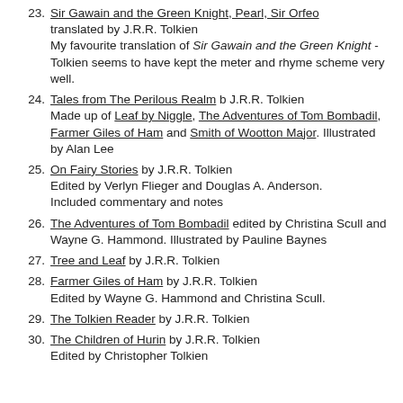23. Sir Gawain and the Green Knight, Pearl, Sir Orfeo translated by J.R.R. Tolkien My favourite translation of Sir Gawain and the Green Knight - Tolkien seems to have kept the meter and rhyme scheme very well.
24. Tales from The Perilous Realm b J.R.R. Tolkien Made up of Leaf by Niggle, The Adventures of Tom Bombadil, Farmer Giles of Ham and Smith of Wootton Major. Illustrated by Alan Lee
25. On Fairy Stories by J.R.R. Tolkien Edited by Verlyn Flieger and Douglas A. Anderson. Included commentary and notes
26. The Adventures of Tom Bombadil edited by Christina Scull and Wayne G. Hammond. Illustrated by Pauline Baynes
27. Tree and Leaf by J.R.R. Tolkien
28. Farmer Giles of Ham by J.R.R. Tolkien Edited by Wayne G. Hammond and Christina Scull.
29. The Tolkien Reader by J.R.R. Tolkien
30. The Children of Hurin by J.R.R. Tolkien Edited by Christopher Tolkien